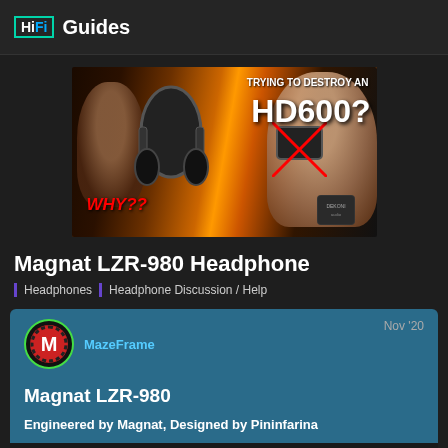HiFi Guides
[Figure (photo): YouTube thumbnail showing two people and a Sennheiser HD600 headphone with fire background. Text reads: TRYING TO DESTROY AN HD600? WHY??]
Magnat LZR-980 Headphone
Headphones | Headphone Discussion / Help
MazeFrame   Nov '20
Magnat LZR-980
Engineered by Magnat, Designed by Pininfarina
[Figure (photo): Partial view of Magnat LZR-980 headphone on dark background]